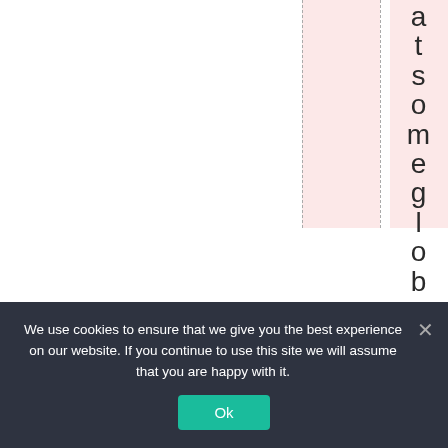[Figure (other): Partial view of a chart or table with vertical dashed grid lines, a pink highlighted column, and rotated/vertical text reading 'at some global averag' along the right side]
We use cookies to ensure that we give you the best experience on our website. If you continue to use this site we will assume that you are happy with it. Ok ×